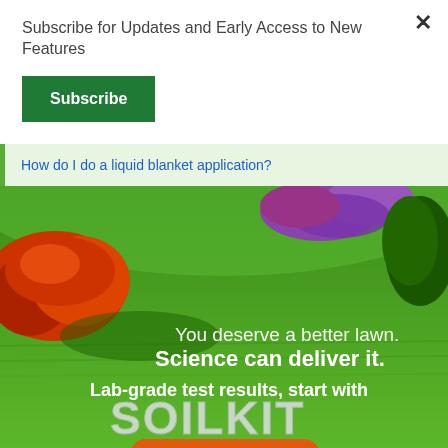Subscribe for Updates and Early Access to New Features
Subscribe
How do I do a liquid blanket application?
[Figure (photo): Advertisement for SOILKIT lawn care product. Green lawn with colorful bushes/shrubs in background. Text overlay reads: 'You deserve a better lawn. Science can deliver it. Lab-grade test results, start with SOILKIT'. Orange button reads 'CLICK FOR MORE INFO'.]